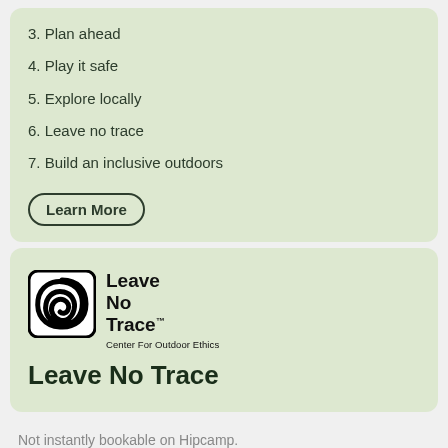3. Plan ahead
4. Play it safe
5. Explore locally
6. Leave no trace
7. Build an inclusive outdoors
Learn More
[Figure (logo): Leave No Trace Center For Outdoor Ethics spiral logo in black and white]
Leave No Trace
Not instantly bookable on Hipcamp.
Check availability